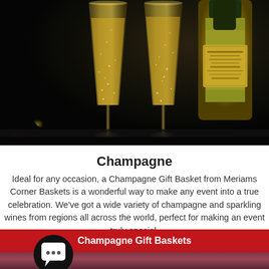[Figure (photo): Two champagne flutes filled with golden bubbly champagne, with a champagne bottle partially visible in the background, dark moody background]
Champagne
Ideal for any occasion, a Champagne Gift Basket from Meriams Corner Baskets is a wonderful way to make any event into a true celebration. We’ve got a wide variety of champagne and sparkling wines from regions all across the world, perfect for making an event truly special.
Champagne Gift Baskets
[Figure (photo): Blurred dark reddish/purple bokeh background at bottom of page]
[Figure (illustration): Chat bubble icon with three dots, black circle background, white speech bubble]